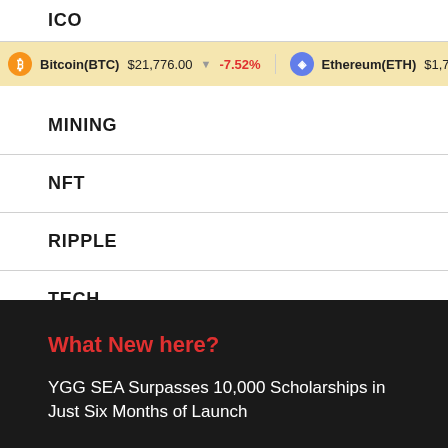ICO
LITECOIN
Bitcoin(BTC) $21,776.00 ▼ -7.52%   Ethereum(ETH) $1,739...
MINING
NFT
RIPPLE
TECH
TRADING
What New here?
YGG SEA Surpasses 10,000 Scholarships in Just Six Months of Launch